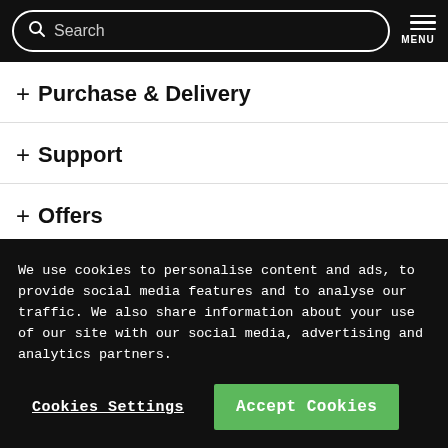Search | MENU
+ Purchase & Delivery
+ Support
+ Offers
We use cookies to personalise content and ads, to provide social media features and to analyse our traffic. We also share information about your use of our site with our social media, advertising and analytics partners.
Cookies Settings
Accept Cookies